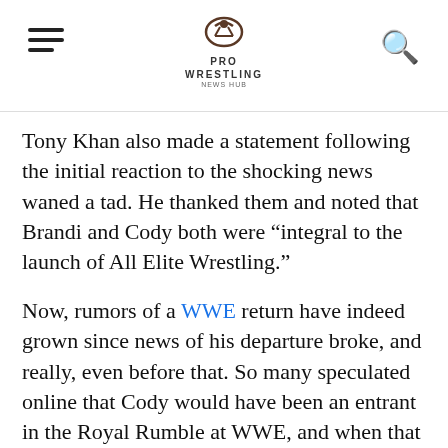PRO WRESTLING NEWS HUB
Tony Khan also made a statement following the initial reaction to the shocking news waned a tad. He thanked them and noted that Brandi and Cody both were “integral to the launch of All Elite Wrestling.”
Now, rumors of a WWE return have indeed grown since news of his departure broke, and really, even before that. So many speculated online that Cody would have been an entrant in the Royal Rumble at WWE, and when that did not come to pass, many were secure in perhaps feeling like Cody would stick with AEW, despite the fact that he was working